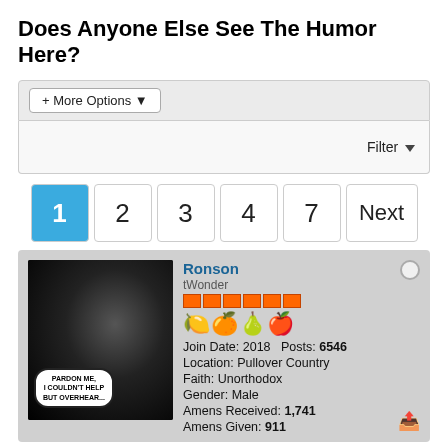Does Anyone Else See The Humor Here?
+ More Options
Filter
1  2  3  4  7  Next
[Figure (screenshot): Forum post with user avatar showing a seal with 'Pardon Me, I Couldn't Help But Overhear' speech bubble. Username: Ronson, rank: tWonder, Posts: 6546, Location: Pullover Country, Faith: Unorthodox, Amens Received: 1,741, Amens Given: 911]